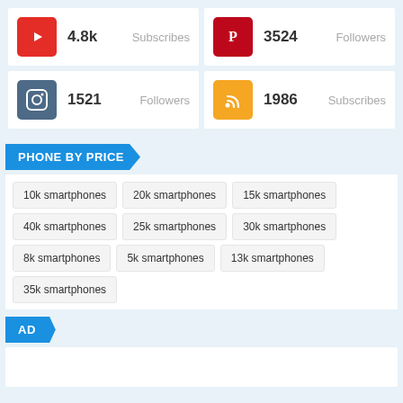[Figure (infographic): Social media stats widget showing YouTube 4.8k Subscribes, Pinterest 3524 Followers, Instagram 1521 Followers, RSS 1986 Subscribes]
PHONE BY PRICE
10k smartphones
20k smartphones
15k smartphones
40k smartphones
25k smartphones
30k smartphones
8k smartphones
5k smartphones
13k smartphones
35k smartphones
AD